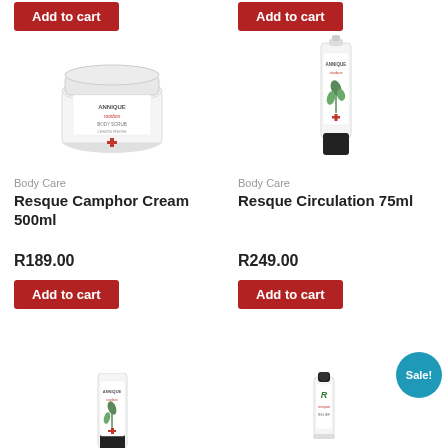[Figure (photo): Add to cart button top-left product (partially visible)]
[Figure (photo): Add to cart button top-right product (partially visible)]
[Figure (photo): Annique Resque Camphor Cream 500ml white jar product image]
Body Care
Resque Camphor Cream 500ml
R189.00
[Figure (photo): Add to cart button for Resque Camphor Cream 500ml]
[Figure (photo): Annique Resque Circulation 75ml tube product image]
Body Care
Resque Circulation 75ml
R249.00
[Figure (photo): Add to cart button for Resque Circulation 75ml]
[Figure (photo): Annique Resque product tube image at bottom-left (partially visible)]
[Figure (photo): Annique R roller product image at bottom-right (partially visible)]
Sale!